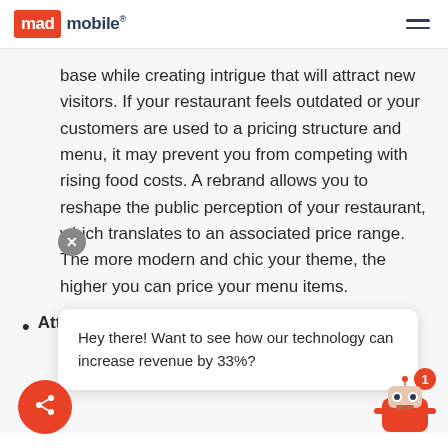mad mobile
base while creating intrigue that will attract new visitors. If your restaurant feels outdated or your customers are used to a pricing structure and menu, it may prevent you from competing with rising food costs. A rebrand allows you to reshape the public perception of your restaurant, which translates to an associated price range. The more modern and chic your theme, the higher you can price your menu items.
Attract top talent: With the rise of [partially obscured by chat overlay]
Hey there! Want to see how our technology can increase revenue by 33%?